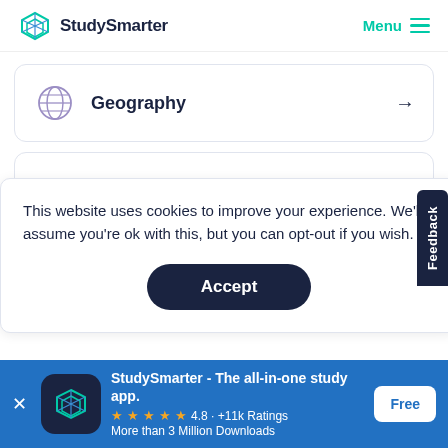StudySmarter | Menu
Geography →
History →
This website uses cookies to improve your experience. We'll assume you're ok with this, but you can opt-out if you wish.
Accept
Feedback
StudySmarter - The all-in-one study app. ★★★★★ 4.8 · +11k Ratings More than 3 Million Downloads Free